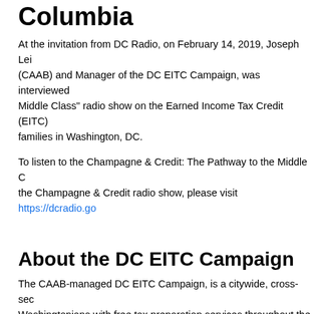Columbia
At the invitation from DC Radio, on February 14, 2019, Joseph Lei (CAAB) and Manager of the DC EITC Campaign, was interviewed on the "Champagne & Credit: The Pathway to the Middle Class" radio show on the Earned Income Tax Credit (EITC) and its benefits for families in Washington, DC.
To listen to the Champagne & Credit: The Pathway to the Middle Class episode of the Champagne & Credit radio show, please visit https://dcradio.go...
About the DC EITC Campaign
The CAAB-managed DC EITC Campaign, is a citywide, cross-sector coalition that assists Washingtonians with free tax preparation services throughout the DC area.
The DC EITC Campaign is made possible through the support from Washington Gas, Citi Community Development, United Way of the...
DC EITC Campaign Partners
Community Tax Aid